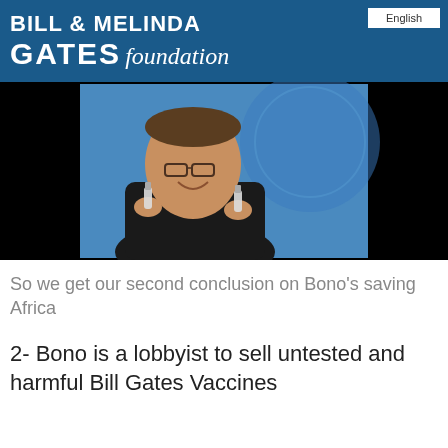BILL MELINDA GATES foundation
English
[Figure (photo): A smiling man in glasses holding two small vaccine vials, photographed against a blue background with a UN-style logo.]
So we get our second conclusion on Bono’s saving Africa
2- Bono is a lobbyist to sell untested and harmful Bill Gates Vaccines